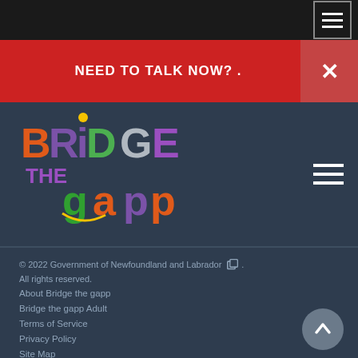NEED TO TALK NOW? .
[Figure (logo): Bridge the gapp colorful logo with multi-colored letters on dark blue background]
© 2022 Government of Newfoundland and Labrador. All rights reserved. About Bridge the gapp. Bridge the gapp Adult. Terms of Service. Privacy Policy. Site Map. Contact Us.